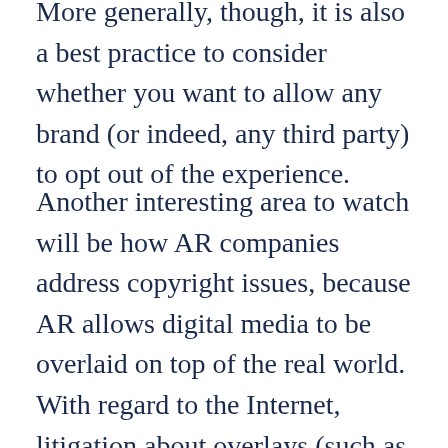More generally, though, it is also a best practice to consider whether you want to allow any brand (or indeed, any third party) to opt out of the experience.
Another interesting area to watch will be how AR companies address copyright issues, because AR allows digital media to be overlaid on top of the real world. With regard to the Internet, litigation about overlays (such as pop-ups) typically involves a robust discussion of whether the overlay is a transformative use of the original copyright. So far, the use of AR technology has generally been rather transformative. But as AR becomes